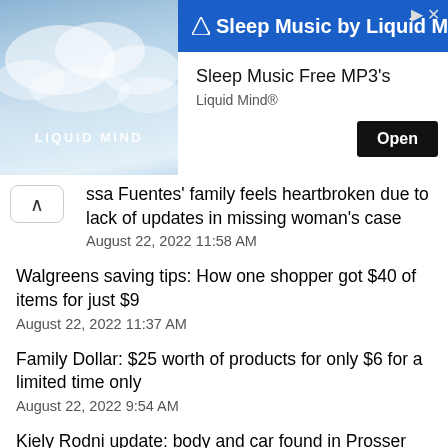[Figure (other): Advertisement banner for 'Sleep Music by Liquid Mind' showing a sky/clouds background image with 'LIQUID MIND' text, an 'Open' button, 'Sleep Music Free MP3's' subtitle, and 'Liquid Mind®' brand label.]
ssa Fuentes' family feels heartbroken due to lack of updates in missing woman's case
August 22, 2022 11:58 AM
Walgreens saving tips: How one shopper got $40 of items for just $9
August 22, 2022 11:37 AM
Family Dollar: $25 worth of products for only $6 for a limited time only
August 22, 2022 9:54 AM
Kiely Rodni update: body and car found in Prosser Creek Reservoir believed to be missing teen's
August 22, 2022 9:56 AM
Fentanyl: Potent version of drug called "rainbow fentanyl"